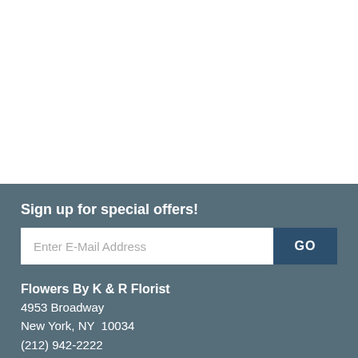Sign up for special offers!
Enter E-Mail Address
GO
Flowers By K & R Florist
4953 Broadway
New York, NY  10034
(212) 942-2222